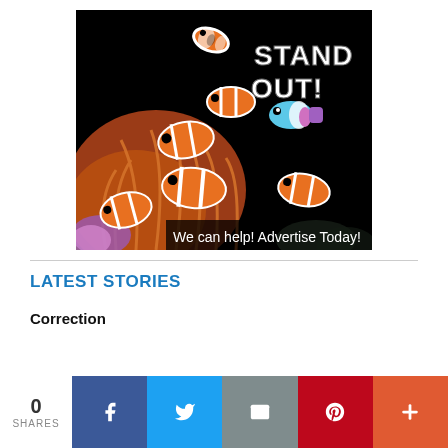[Figure (illustration): Advertisement banner featuring clownfish in a coral reef aquarium scene with text 'STAND OUT!' and 'We can help! Advertise Today!']
LATEST STORIES
Correction
0 SHARES
[Figure (infographic): Social sharing bar with Facebook, Twitter, Email, Pinterest, and More buttons]